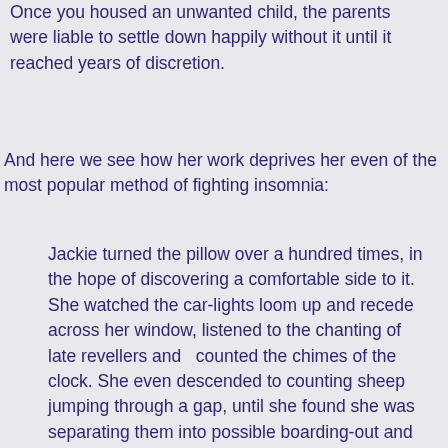Once you housed an unwanted child, the parents were liable to settle down happily without it until it reached years of discretion.
And here we see how her work deprives her even of the most popular method of fighting insomnia:
Jackie turned the pillow over a hundred times, in the hope of discovering a comfortable side to it. She watched the car-lights loom up and recede across her window, listened to the chanting of late revellers and  counted the chimes of the clock. She even descended to counting sheep jumping through a gap, until she found she was separating them into possible boarding-out and definitely institutional sheep. Still she was